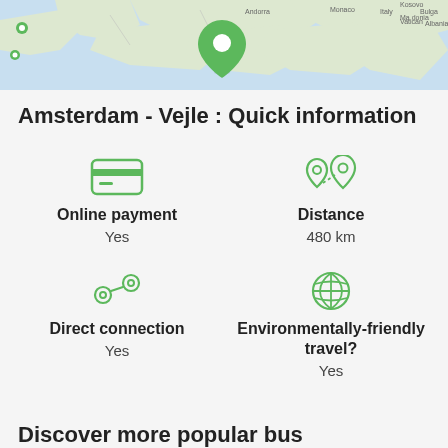[Figure (map): Map showing Western Europe with green location pins, including one large pin over France/Switzerland area, and smaller pins at various locations]
Amsterdam - Vejle : Quick information
Online payment
Yes
Distance
480 km
Direct connection
Yes
Environmentally-friendly travel?
Yes
Discover more popular bus connections